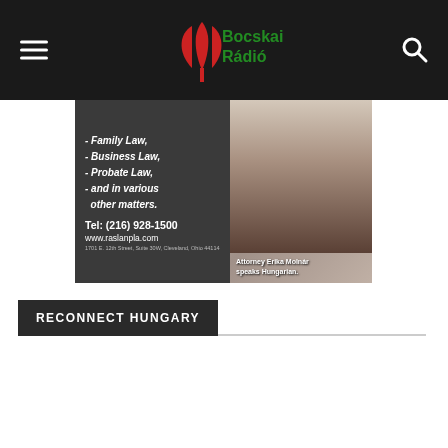Bocskai Rádió
[Figure (photo): Law firm advertisement showing text: Family Law, Business Law, Probate Law, and in various other matters. Tel: (216) 928-1500, www.raslanpla.com, 1701 E. 12th Street, Suite 30W, Cleveland, Ohio 44114. Photo of Attorney Erika Molnár who speaks Hungarian, wearing a traditional embroidered Hungarian jacket.]
RECONNECT HUNGARY